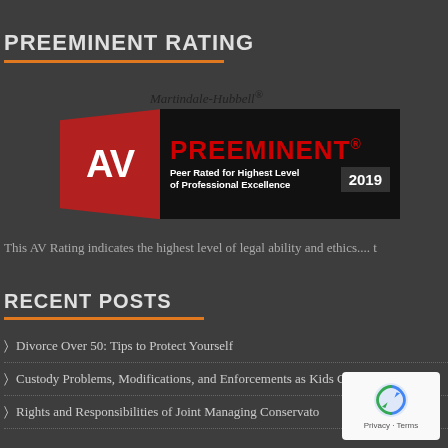PREEMINENT RATING
[Figure (logo): Martindale-Hubbell AV Preeminent 2019 badge - Peer Rated for Highest Level of Professional Excellence]
This AV Rating indicates the highest level of legal ability and ethics.... t
RECENT POSTS
Divorce Over 50: Tips to Protect Yourself
Custody Problems, Modifications, and Enforcements as Kids Grow U
Rights and Responsibilities of Joint Managing Conservato